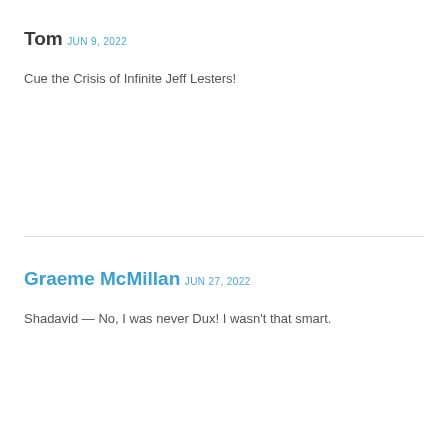Tom
JUN 9, 2022
Cue the Crisis of Infinite Jeff Lesters!
Graeme McMillan
JUN 27, 2022
Shadavid — No, I was never Dux! I wasn't that smart.